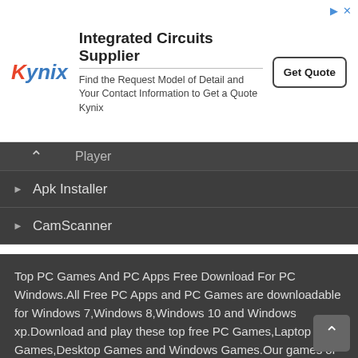[Figure (other): Kynix Integrated Circuits Supplier advertisement banner with Kynix logo, headline 'Integrated Circuits Supplier', subtext 'Find the Request Model of Detail and Your Contact Information to Get a Quote Kynix', and a 'Get Quote' button.]
▸ Player (partial, scrolled)
▸ Apk Installer
▸ CamScanner
Top PC Games And PC Apps Free Download For PC Windows.All Free PC Apps and PC Games are downloadable for Windows 7,Windows 8,Windows 10 and Windows xp.Download and play these top free PC Games,Laptop Games,Desktop Games and Windows Games.Our games or apps are licensed Full Version for PC.FreePCAPP.com is one of the best places on the Web to play new PC/Laptop games or apps for free in 2019!Apps or Apk Free Download For PC Windows 7,8,10,xp and laptop.Download free apps online. Apps for PC are free and safe download.Download the latest version apps apk games for PC. Apps or Apk Downloader For